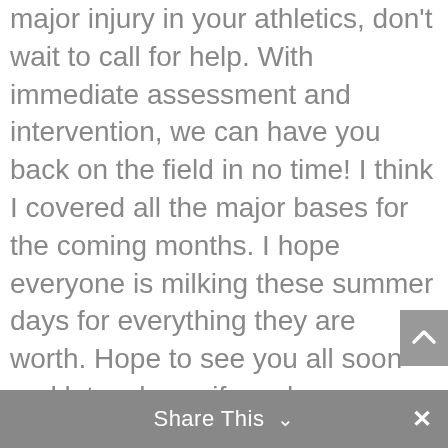major injury in your athletics, don't wait to call for help. With immediate assessment and intervention, we can have you back on the field in no time! I think I covered all the major bases for the coming months. I hope everyone is milking these summer days for everything they are worth. Hope to see you all soon and let us know if you have any suggestions for our Blog Topic panel as we would love to dig deeper into any subject matter of interest!
Sincerely,
Dr. April
Share This ∨  ✕